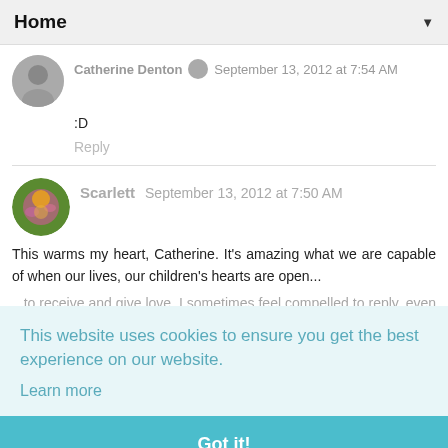Home ▼
Catherine Denton  September 13, 2012 at 7:54 AM
:D
Reply
Scarlett  September 13, 2012 at 7:50 AM
This warms my heart, Catherine. It's amazing what we are capable of when our lives, our children's hearts are open...
This website uses cookies to ensure you get the best experience on our website.
Learn more
Got it!
Reply